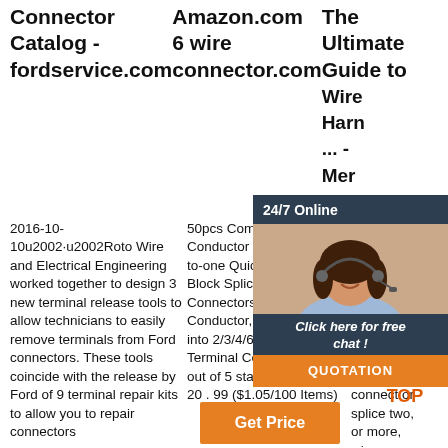Connector Catalog - fordservice.com
Amazon.com 6 wire connector.com
The Ultimate Guide to Wire Harn... - Mer Cab
2016-10-10u2002·u2002Roto Wire and Electrical Engineering worked together to design 3 new terminal release tools to allow technicians to easily remove terminals from Ford connectors. These tools coincide with the release by Ford of 9 terminal repair kits to allow you to repair connectors
50pcs Compact Wire Conductor Connector,one-to-one Quick Terminal Block Splicing Connectors,Assortment Conductor, Can Splicing into 2/3/4/6 Way Butt Terminal Connectors 4.7 out of 5 stars 118 $20.99 $ 20 . 99 ($1.05/100 Items)
2020-3-11u2002 Conne Splices a wire to wire connection, these terminals are used to connect or splice two, or more, wires together. This
[Figure (photo): Chat widget with woman wearing headset, 24/7 Online label, Click here for free chat!, and QUOTATION button]
[Figure (logo): TOP badge with orange dot pattern]
[Figure (other): Get Price orange button]